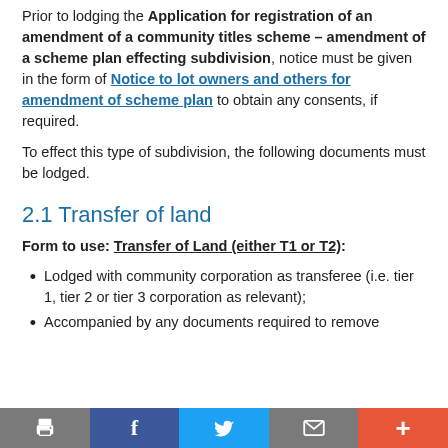Prior to lodging the Application for registration of an amendment of a community titles scheme – amendment of a scheme plan effecting subdivision, notice must be given in the form of Notice to lot owners and others for amendment of scheme plan to obtain any consents, if required.
To effect this type of subdivision, the following documents must be lodged.
2.1 Transfer of land
Form to use: Transfer of Land (either T1 or T2):
Lodged with community corporation as transferee (i.e. tier 1, tier 2 or tier 3 corporation as relevant);
Accompanied by any documents required to remove...
[toolbar: print, facebook, twitter, email, plus]